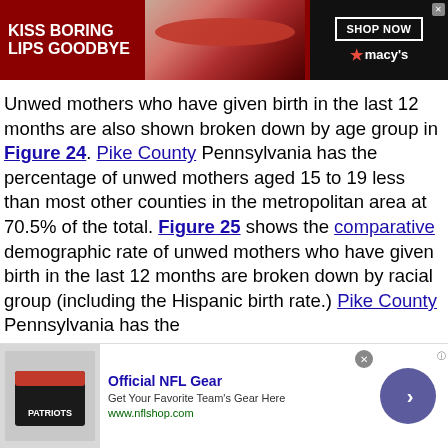[Figure (photo): Advertisement banner: 'KISS BORING LIPS GOODBYE' with Macy's branding and 'SHOP NOW' button]
Unwed mothers who have given birth in the last 12 months are also shown broken down by age group in Figure 24. Pike County Pennsylvania has the percentage of unwed mothers aged 15 to 19 less than most other counties in the metropolitan area at 70.5% of the total. Figure 25 shows the comparative demographic rate of unwed mothers who have given birth in the last 12 months are broken down by racial group (including the Hispanic birth rate.) Pike County Pennsylvania has the
[Figure (photo): Advertisement: Official NFL Gear - Get Your Favorite Team's Gear Here, www.nflshop.com]